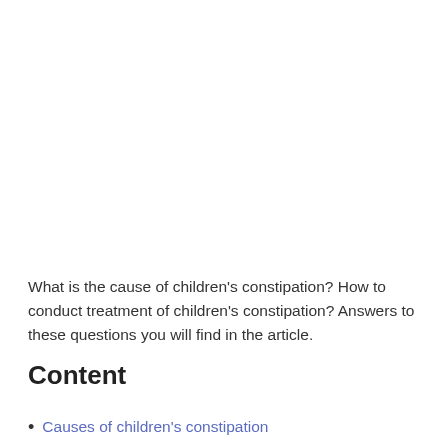What is the cause of children's constipation? How to conduct treatment of children's constipation? Answers to these questions you will find in the article.
Content
Causes of children's constipation